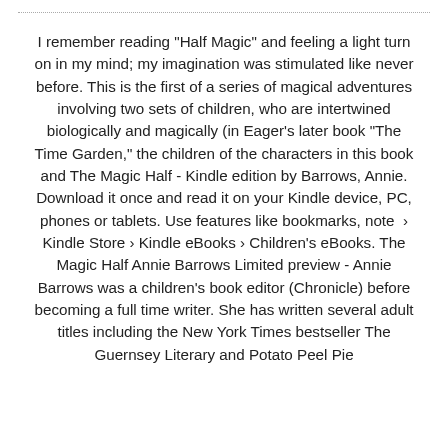I remember reading "Half Magic" and feeling a light turn on in my mind; my imagination was stimulated like never before. This is the first of a series of magical adventures involving two sets of children, who are intertwined biologically and magically (in Eager's later book "The Time Garden," the children of the characters in this book and The Magic Half - Kindle edition by Barrows, Annie. Download it once and read it on your Kindle device, PC, phones or tablets. Use features like bookmarks, note  › Kindle Store › Kindle eBooks › Children's eBooks. The Magic Half Annie Barrows Limited preview - Annie Barrows was a children's book editor (Chronicle) before becoming a full time writer. She has written several adult titles including the New York Times bestseller The Guernsey Literary and Potato Peel Pie